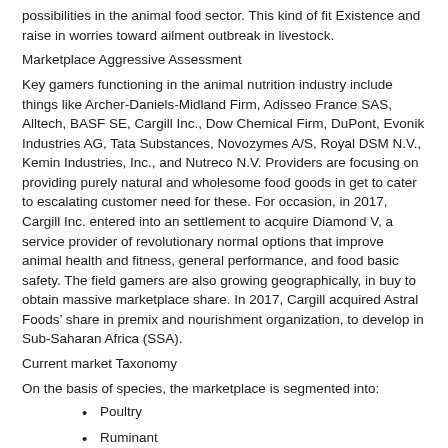possibilities in the animal food sector. This kind of fit Existence and raise in worries toward ailment outbreak in livestock.
Marketplace Aggressive Assessment
Key gamers functioning in the animal nutrition industry include things like Archer-Daniels-Midland Firm, Adisseo France SAS, Alltech, BASF SE, Cargill Inc., Dow Chemical Firm, DuPont, Evonik Industries AG, Tata Substances, Novozymes A/S, Royal DSM N.V., Kemin Industries, Inc., and Nutreco N.V. Providers are focusing on providing purely natural and wholesome food goods in get to cater to escalating customer need for these. For occasion, in 2017, Cargill Inc. entered into an settlement to acquire Diamond V, a service provider of revolutionary normal options that improve animal health and fitness, general performance, and food basic safety. The field gamers are also growing geographically, in buy to obtain massive marketplace share. In 2017, Cargill acquired Astral Foods’ share in premix and nourishment organization, to develop in Sub-Saharan Africa (SSA).
Current market Taxonomy
On the basis of species, the marketplace is segmented into:
Poultry
Ruminant
Aquaculture
Swine